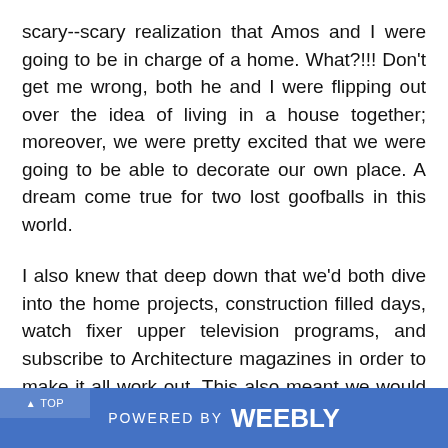scary--scary realization that Amos and I were going to be in charge of a home. What?!!! Don't get me wrong, both he and I were flipping out over the idea of living in a house together; moreover, we were pretty excited that we were going to be able to decorate our own place. A dream come true for two lost goofballs in this world.
I also knew that deep down that we'd both dive into the home projects, construction filled days, watch fixer upper television programs, and subscribe to Architecture magazines in order to make it all work out. This also meant we would have to put travel and creative work aside to focus on the house. So, being the Y-generation folks that we are, we decided to deal with this anxiety by traveling before pitching a tent in Los Angeles, so to speak. You've seen all the images from my trip, and it was
▲ TOP    POWERED BY weebly